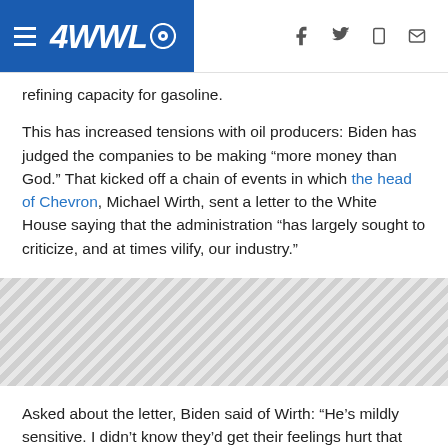4WWL [logo with CBS eye icon] — navigation header with social/share icons
refining capacity for gasoline.
This has increased tensions with oil producers: Biden has judged the companies to be making “more money than God.” That kicked off a chain of events in which the head of Chevron, Michael Wirth, sent a letter to the White House saying that the administration “has largely sought to criticize, and at times vilify, our industry.”
[Figure (other): Advertisement banner with diagonal hatching pattern]
Asked about the letter, Biden said of Wirth: “He’s mildly sensitive. I didn’t know they’d get their feelings hurt that quickly.”